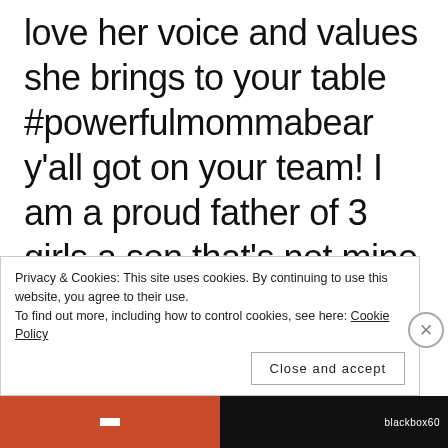love her voice and values she brings to your table #powerfulmommabear y'all got on your team! I am a proud father of 3 girls a son that's not mine and come from a father who abused my sister I to was raped as a child
Privacy & Cookies: This site uses cookies. By continuing to use this website, you agree to their use.
To find out more, including how to control cookies, see here: Cookie Policy
Close and accept